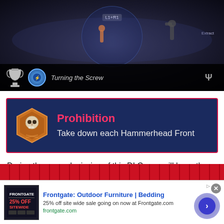[Figure (screenshot): Video game screenshot showing an action scene with a circular HUD element, L1+R1 prompt, trophy icon, badge icon, text 'Turning the Screw', and PlayStation logo on a dark background]
[Figure (infographic): Prohibition trophy/achievement banner with dark blue background and pink border. Shows hexagonal badge with skull icon, title 'Prohibition' in pink/red, description 'Take down each Hammerhead Front']
During the second mission of this DLC, you will learn the location of several “Hammerhead Front” Enemy Base events, which will be marked on the map with several red frankenstein-looking Hammerhead icons.
[Figure (screenshot): Partial map strip showing red background with game UI elements]
[Figure (screenshot): Advertisement banner: Frontgate: Outdoor Furniture | Bedding. 25% off site wide sale going on now at Frontgate.com. frontgate.com]